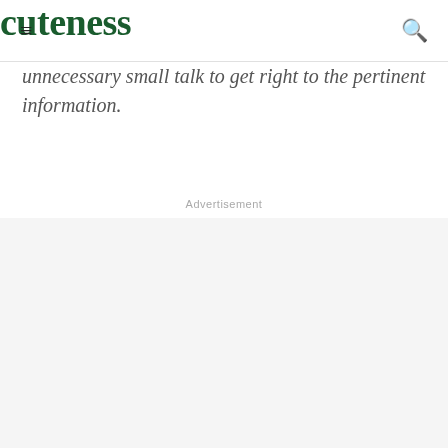cuteness
unnecessary small talk to get right to the pertinent information.
Advertisement